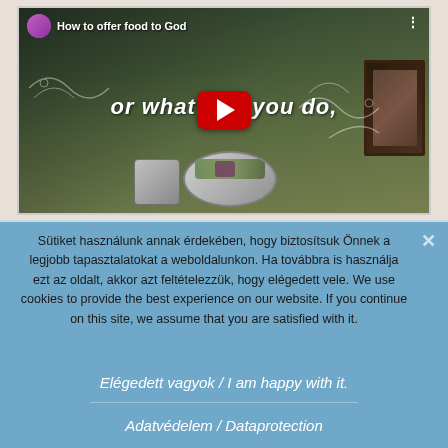[Figure (screenshot): YouTube video thumbnail showing 'How to offer food to God' with a play button overlay, food items on a tiled floor, and text 'or what... you do,']
Sütiket használunk annak érdekében, hogy biztosítsuk Önnek a legjobb tapasztalatokat a weboldalunkon. Ha továbbra is használja ezt az oldalt, akkor azt feltételezzük, hogy elégedett vele. We use cookies to provide the best experience on our website. If you continue on this site, we assume that you are satisfied with it.
Elégedett vagyok / I am happy with it.
Adatvédelem / Dataprotection